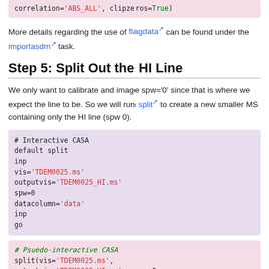correlation='ABS_ALL', clipzeros=True)
More details regarding the use of flagdata can be found under the importasdm task.
Step 5: Split Out the HI Line
We only want to calibrate and image spw='0' since that is where we expect the line to be. So we will run split to create a new smaller MS containing only the HI line (spw 0).
# Interactive CASA
default split
inp
vis='TDEM0025.ms'
outputvis='TDEM0025_HI.ms'
spw=0
datacolumn='data'
inp
go
# Psuedo-interactive CASA
split(vis='TDEM0025.ms',
outputvis='TDEM0025_HI.ms',  spw=0,
datacolumn='data')